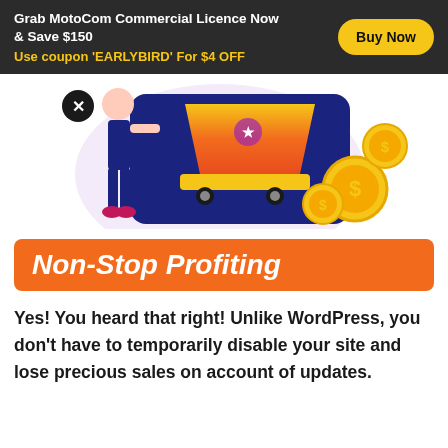Grab MotoCom Commercial Licence Now & Save $150
Use coupon 'EARLYBIRD' For $4 OFF
[Figure (illustration): Marketing illustration showing a person with a shopping cart on a device screen, surrounded by gold dollar coins, with a close (X) button overlay in top-left area.]
Non-Stop Profiting
Yes! You heard that right! Unlike WordPress, you don't have to temporarily disable your site and lose precious sales on account of updates.